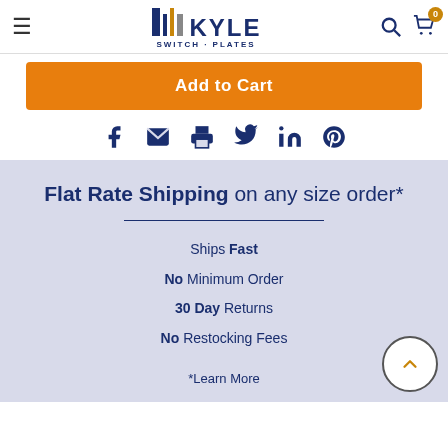Kyle Switch Plates — site header with logo, search, and cart
Add to Cart
[Figure (infographic): Social sharing icons row: Facebook, Email, Print, Twitter, LinkedIn, Pinterest]
Flat Rate Shipping on any size order*
Ships Fast
No Minimum Order
30 Day Returns
No Restocking Fees
*Learn More